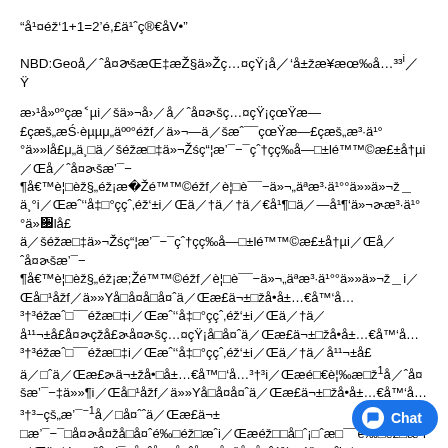“å¹¤éž‘1+1=2’é,Â£ä¹ˆç®€å—•”
NBD:Geoå／ˆå¤ɚšæŒ‡æŽ§ä»Žç…¤çŸ¡å／‘å±žæ¥æœ‰å…³ï¿½i／Ÿ
æ›¹å»º°çæ˂µi／šä»¬å›／å／ˆå¤ɚšç…¤çŸ¡çœŸæ—Â£çæš„æŚ·èµµμ„äºº°éžJ／ä»¬—ä／šæˆ¯¯çœŸæ—Â£çæš„æ³·ä¹°°ä»»lå£μ„ä¸□ä／šéžæ□‡ä»¬Žśç“¦æ’¯−¯çˆ†çç‰å—□±lé™™©æ£±å†µi／Œå／ˆå¤ɚšæ’¯−¶å€™è¦□èž§„éž¡æ�Žé™™©éžJ／è¦□è¯¯−ä»¬„äªæ³·ä¹°°ä»»lå£¯¯ïf／Œæˆ‘‘å‡□°ççⲆ‚éž‘±i／Œä／†ä／å¹¶ä／—å¹¶‘ä»¬ɚæ³·ä¹°°ä»»lå£